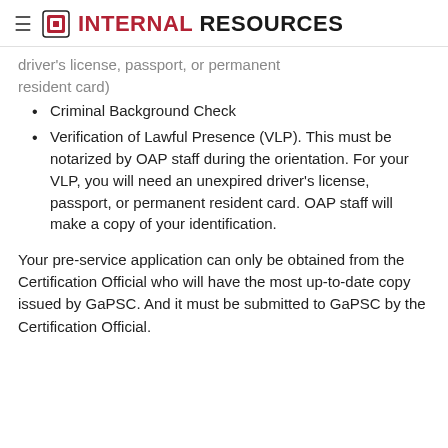INTERNAL RESOURCES
driver's license, passport, or permanent resident card)
Criminal Background Check
Verification of Lawful Presence (VLP). This must be notarized by OAP staff during the orientation. For your VLP, you will need an unexpired driver's license, passport, or permanent resident card. OAP staff will make a copy of your identification.
Your pre-service application can only be obtained from the Certification Official who will have the most up-to-date copy issued by GaPSC. And it must be submitted to GaPSC by the Certification Official.